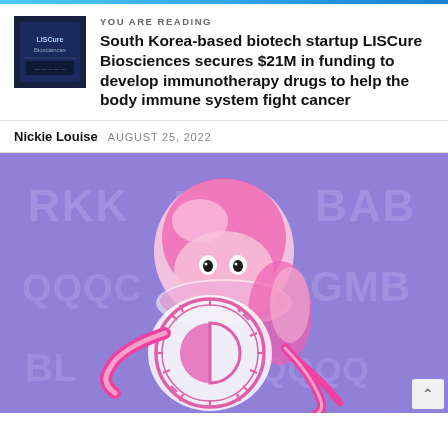YOU ARE READING
South Korea-based biotech startup LISCure Biosciences secures $21M in funding to develop immunotherapy drugs to help the body immune system fight cancer
Nickie Louise  AUGUST 25, 2022
[Figure (illustration): A pink and white 3D cartoon jellyfish character holding a circular badge with a snowflake-like symbol, set against a purple background with stock ticker-style text (RKK, BAB, GMB, QQQQ, BL) in a digital LED style. The jellyfish has round eyes and tentacles, and the overall aesthetic is playful and colorful.]